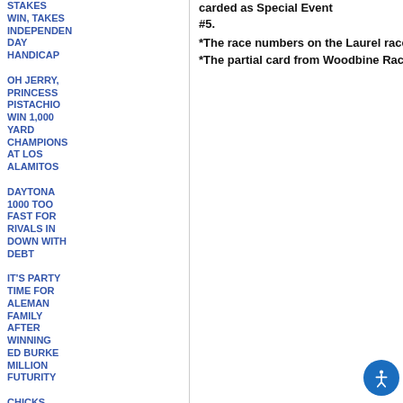STAKES WIN, TAKES INDEPENDENCE DAY HANDICAP
OH JERRY, PRINCESS PISTACHIO WIN 1,000 YARD CHAMPIONS AT LOS ALAMITOS
DAYTONA 1000 TOO FAST FOR RIVALS IN DOWN WITH DEBT
IT'S PARTY TIME FOR ALEMAN FAMILY AFTER WINNING ED BURKE MILLION FUTURITY
CHICKS FIRST FLASH WINS THE FRED SCANE WITH STRONG
carded as Special Event #5.
*The race numbers on the Laurel race card co...
*The partial card from Woodbine Racecourse (...